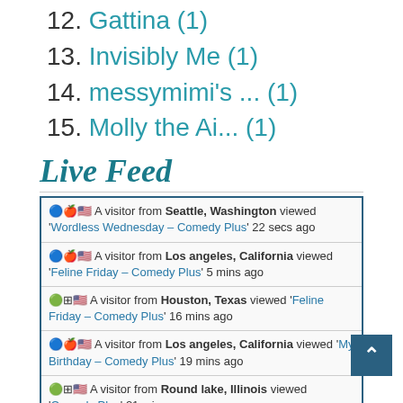12. Gattina (1)
13. Invisibly Me (1)
14. messymimi's ... (1)
15. Molly the Ai... (1)
Live Feed
A visitor from Seattle, Washington viewed 'Wordless Wednesday – Comedy Plus' 22 secs ago
A visitor from Los angeles, California viewed 'Feline Friday – Comedy Plus' 5 mins ago
A visitor from Houston, Texas viewed 'Feline Friday – Comedy Plus' 16 mins ago
A visitor from Los angeles, California viewed 'My Birthday – Comedy Plus' 19 mins ago
A visitor from Round lake, Illinois viewed 'Comedy Plus' 21 mins ago
A visitor from Los angeles, California viewed 'Wordless Wednesday – Comedy Plus' 31 mins ago
A visitor from Island pond, Vermont viewed 'Feline Friday – Comedy Plus' 34 mins ago